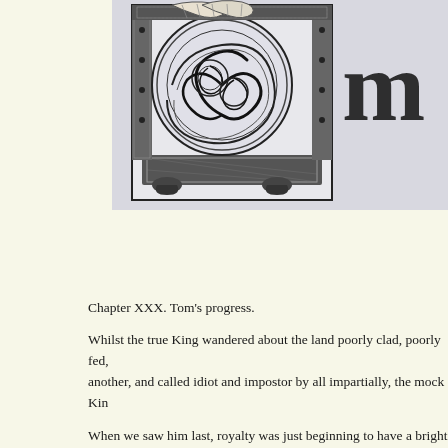[Figure (illustration): An ornate illuminated manuscript-style decorative initial or chapter heading illustration featuring intricate Celtic knotwork, spirals, and interlaced patterns in black and white engraving style. The design includes circular medallions with complex whorls and a decorative border with geometric patterns.]
Chapter XXX. Tom's progress.
Whilst the true King wandered about the land poorly clad, poorly fed, another, and called idiot and impostor by all impartially, the mock Kin
When we saw him last, royalty was just beginning to have a bright side little while it was become almost all sunshine and delightfulness. He l gave place to an easy and confident bearing. He worked the whipping